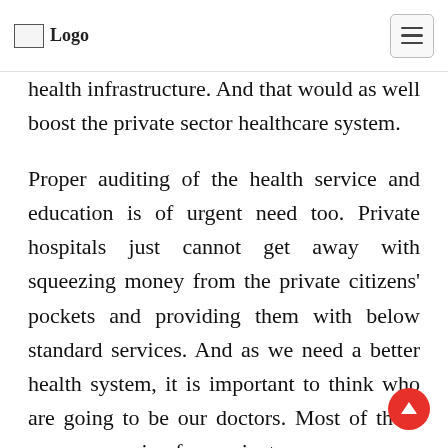Logo
health infrastructure. And that would as well boost the private sector healthcare system.
Proper auditing of the health service and education is of urgent need too. Private hospitals just cannot get away with squeezing money from the private citizens' pockets and providing them with below standard services. And as we need a better health system, it is important to think who are going to be our doctors. Most of them are now coming from private